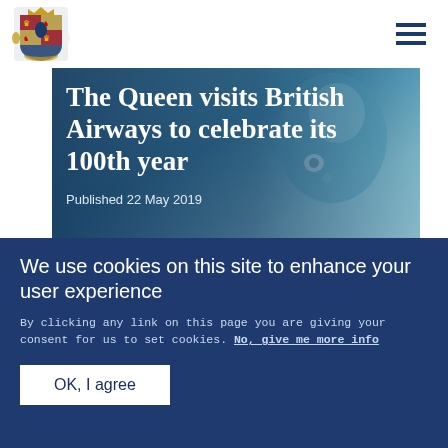Royal.uk - Navigation header with logo and menu
[Figure (photo): Hero image of Queen Elizabeth II wearing a teal/blue outfit with brooch, overlaid with article title and publication date]
The Queen visits British Airways to celebrate its 100th year
Published 22 May 2019
[Figure (photo): Partial photo of a person, cropped at the bottom of the visible area above the cookie banner]
We use cookies on this site to enhance your user experience
By clicking any link on this page you are giving your consent for us to set cookies. No, give me more info
OK, I agree